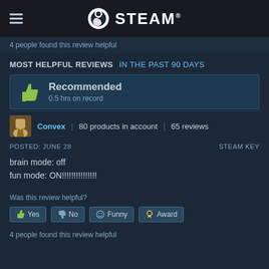STEAM
4 people found this review helpful
MOST HELPFUL REVIEWS IN THE PAST 90 DAYS
Recommended
0.5 hrs on record
Convex | 80 products in account | 65 reviews
POSTED: JUNE 28    STEAM KEY
brain mode: off
fun mode: ON!!!!!!!!!!!!!!!
Was this review helpful?
Yes  No  Funny  Award
4 people found this review helpful